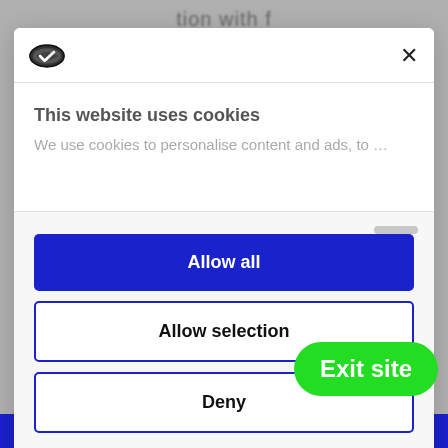[Figure (screenshot): Cookie consent dialog modal overlay on a website. The modal has a cookie logo and X close button at the top, a section titled 'This website uses cookies' with blurred body text, and three buttons: 'Allow all' (blue filled), 'Allow selection' (outlined), and 'Deny' (outlined). A green 'Exit site' pill button overlaps the bottom right. At the bottom is a blue bar with white text 'LGBTQI+ issues and for condoms and lube.']
This website uses cookies
We use cookies to personalise content and ads, to ...
Allow all
Allow selection
Deny
Powered by Cookiebot by Us...
Exit site
LGBTQI+ issues and for condoms and lube.